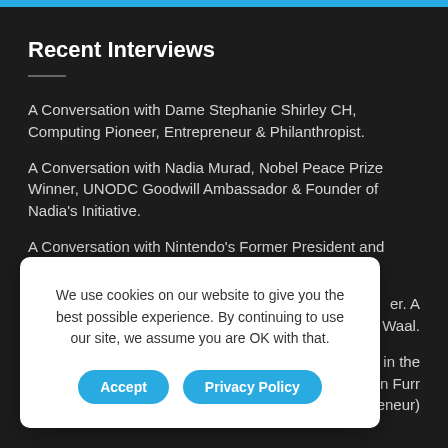Recent Interviews
A Conversation with Dame Stephanie Shirley CH, Computing Pioneer, Entrepreneur & Philanthropist.
A Conversation with Nadia Murad, Nobel Peace Prize Winner, UNODC Goodwill Ambassador & Founder of Nadia's Initiative.
A Conversation with Nintendo's Former President and COO, Reggie Fils-Aimé on Disrupting the Game
er. A de Waal.
ssibility in the n Furr ntrepreneur)
We use cookies on our website to give you the best possible experience. By continuing to use our site, we assume you are OK with that.